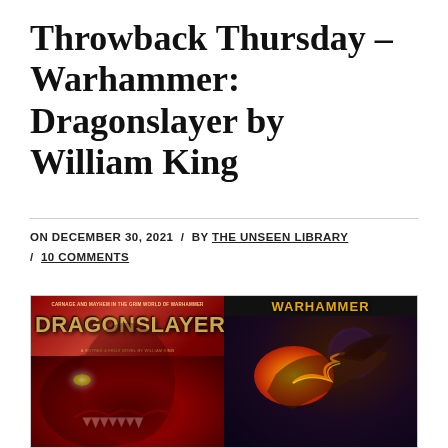Throwback Thursday – Warhammer: Dragonslayer by William King
ON DECEMBER 30, 2021 / BY THE UNSEEN LIBRARY / 10 COMMENTS
[Figure (photo): Two book covers side by side. Left: Dragonslayer – A Gotrek & Felix Novel by William King, showing a large red dragon with glowing eye. Right: Warhammer branded cover with a dragon breathing fire under a purple moon.]